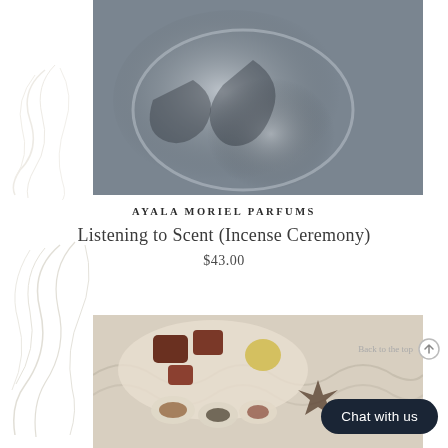[Figure (photo): Close-up photo of a glass container with smoky/misty content and a metal chain visible in the upper right corner, shot from above on a light surface]
AYALA MORIEL PARFUMS
Listening to Scent (Incense Ceremony)
$43.00
[Figure (photo): Overhead photo of a plate with various spices, dried ingredients, small shell-shaped dishes containing spices and seeds, on a patterned background]
Chat with us